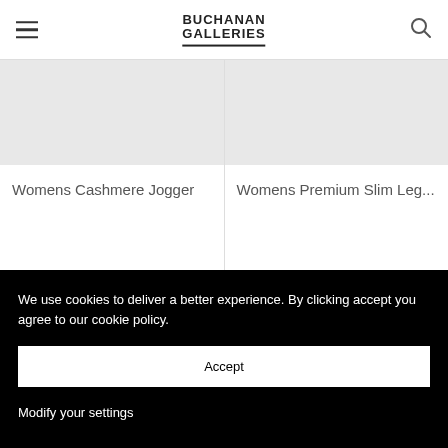BUCHANAN GALLERIES
Womens Cashmere Jogger
Womens Premium Slim Leg...
We use cookies to deliver a better experience. By clicking accept you agree to our cookie policy.
Accept
Modify your settings